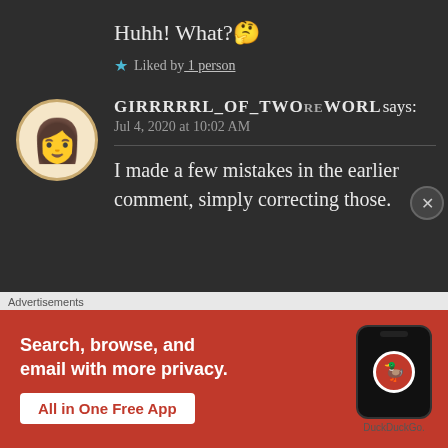Huhh! What? 🤔
★ Liked by 1 person
GIRRRRRL_OF_TWOWORLDS says:
Jul 4, 2020 at 10:02 AM
I made a few mistakes in the earlier comment, simply correcting those.
[Figure (infographic): DuckDuckGo advertisement banner with orange/red background showing 'Search, browse, and email with more privacy. All in One Free App' with a phone mockup showing the DuckDuckGo logo]
Advertisements